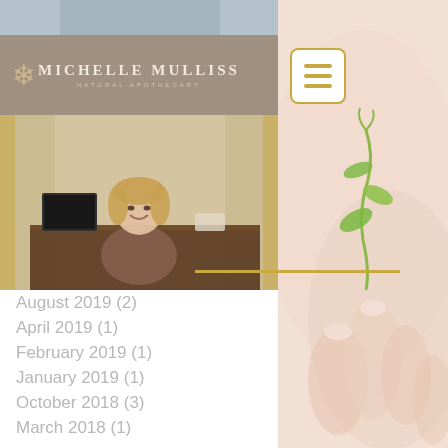[Figure (photo): Top partial image strip, appears to be a cropped photo with grey-blue tones]
[Figure (logo): Michelle Mulliss Natural Apothecary logo banner with snowflake motif on taupe/brown background]
[Figure (photo): Woman sitting at a desk smiling, in an elegant office setting with gold curtains]
[Figure (other): Hamburger navigation menu button with gold border]
[Figure (photo): Right side background photo of hands holding a small green plant/seedling, with soft peach/skin tones]
August 2019 (2)
April 2019 (1)
February 2019 (1)
January 2019 (1)
October 2018 (3)
March 2018 (1)
January 2018 (1)
October 2017 (1)
April 2017 (1)
March 2017 (1)
February 2017 (2)
January 2017 (6)
December 2016 (1)